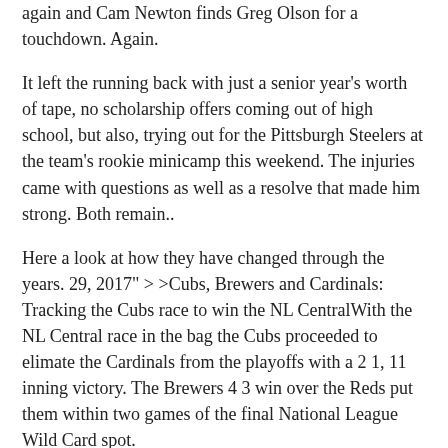drive for Seattle, the Panthers march down the field again and Cam Newton finds Greg Olson for a touchdown. Again.
It left the running back with just a senior year's worth of tape, no scholarship offers coming out of high school, but also, trying out for the Pittsburgh Steelers at the team's rookie minicamp this weekend. The injuries came with questions as well as a resolve that made him strong. Both remain..
Here a look at how they have changed through the years. 29, 2017" > >Cubs, Brewers and Cardinals: Tracking the Cubs race to win the NL CentralWith the NL Central race in the bag the Cubs proceeded to elimate the Cardinals from the playoffs with a 2 1, 11 inning victory. The Brewers 4 3 win over the Reds put them within two games of the final National League Wild Card spot.
Alan Brickman, the event's organizer, told USA Today that he tried to include the NFL as a partner, but the league declined. Two years ago, the NFL forced the cancellation of a fantasy football event that was to be hosted by Tony Romo at The Venetian in Las Vegas